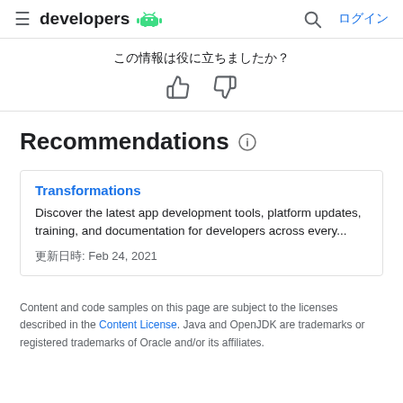≡ developers 🤖 🔍 ログイン
この情報は役に立ちましたか？
Recommendations ⓘ
Transformations
Discover the latest app development tools, platform updates, training, and documentation for developers across every...
更新日時: Feb 24, 2021
Content and code samples on this page are subject to the licenses described in the Content License. Java and OpenJDK are trademarks or registered trademarks of Oracle and/or its affiliates.